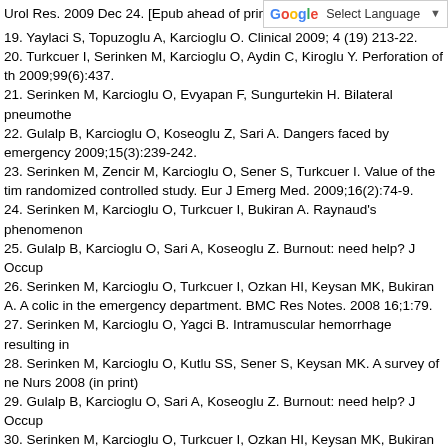Urol Res. 2009 Dec 24. [Epub ahead of print]
[Figure (screenshot): Google Translate 'Select Language' dropdown button in top-right corner]
19. Yaylaci S, Topuzoglu A, Karcioglu O. Clinical                                       2009; 4 (19) 213-22.
20. Turkcuer I, Serinken M, Karcioglu O, Aydin C, Kiroglu Y. Perforation of th 2009;99(6):437.
21. Serinken M, Karcioglu O, Evyapan F, Sungurtekin H. Bilateral pneumothe
22. Gulalp B, Karcioglu O, Koseoglu Z, Sari A. Dangers faced by emergency 2009;15(3):239-242.
23. Serinken M, Zencir M, Karcioglu O, Sener S, Turkcuer I. Value of the tim randomized controlled study. Eur J Emerg Med. 2009;16(2):74-9.
24. Serinken M, Karcioglu O, Turkcuer I, Bukiran A. Raynaud's phenomenon
25. Gulalp B, Karcioglu O, Sari A, Koseoglu Z. Burnout: need help? J Occup
26. Serinken M, Karcioglu O, Turkcuer I, Ozkan HI, Keysan MK, Bukiran A. A colic in the emergency department. BMC Res Notes. 2008 16;1:79.
27. Serinken M, Karcioglu O, Yagci B. Intramuscular hemorrhage resulting in
28. Serinken M, Karcioglu O, Kutlu SS, Sener S, Keysan MK. A survey of ne Nurs 2008 (in print)
29. Gulalp B, Karcioglu O, Sari A, Koseoglu Z. Burnout: need help? J Occup
30. Serinken M, Karcioglu O, Turkcuer I, Ozkan HI, Keysan MK, Bukiran A. A colic in the emergency department. BMC Res Notes. 2008 Sep 16;1:79.
31. Serinken M, Karcioglu O, Sener S. Occupational Hand Injuries Treated a
32. Serinken M, Karcioglu O, Zencir M, Turkcuer I. Direct Medical Costs and Health. 2008;50(1):70-4.
33. Serinken M, Karcioglu O, Sengul C, Turkcuer I, Keysan MK. Hospital cos 158.
34. ...